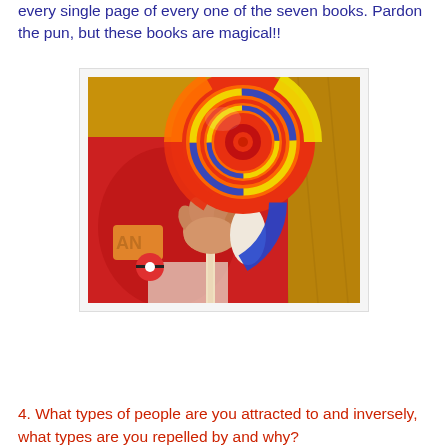every single page of every one of the seven books. Pardon the pun, but these books are magical!!
[Figure (photo): A child in a red shirt holding a large colorful rainbow swirl lollipop in front of a yellow/wooden background.]
4. What types of people are you attracted to and inversely, what types are you repelled by and why?